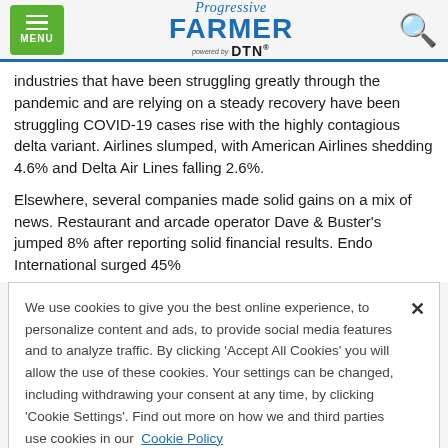Progressive Farmer powered by DTN
Industries that have been struggling greatly through the pandemic and are relying on a steady recovery have been struggling COVID-19 cases rise with the highly contagious delta variant. Airlines slumped, with American Airlines shedding 4.6% and Delta Air Lines falling 2.6%.
Elsewhere, several companies made solid gains on a mix of news. Restaurant and arcade operator Dave & Buster's jumped 8% after reporting solid financial results. Endo International surged 45%
We use cookies to give you the best online experience, to personalize content and ads, to provide social media features and to analyze traffic. By clicking 'Accept All Cookies' you will allow the use of these cookies. Your settings can be changed, including withdrawing your consent at any time, by clicking 'Cookie Settings'. Find out more on how we and third parties use cookies in our Cookie Policy
Accept and Close ✕
Your browser settings do not allow cross-site tracking for advertising. Click on this page to allow AdRoll to use cross-site tracking to tailor ads to you. Learn more or opt out of this AdRoll tracking by clicking here. This message only appears once.